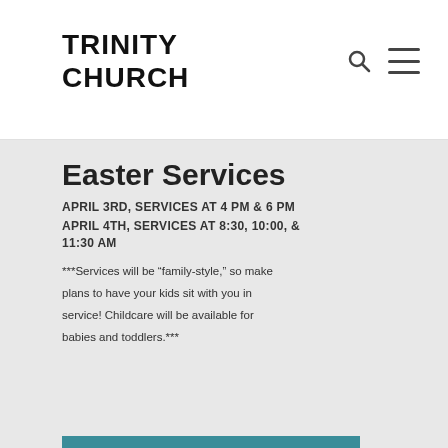TRINITY CHURCH
Easter Services
APRIL 3RD, SERVICES AT 4 PM & 6 PM
APRIL 4TH, SERVICES AT 8:30, 10:00, & 11:30 AM
***Services will be “family-style,” so make plans to have your kids sit with you in service! Childcare will be available for babies and toddlers.***
BACKYARD FUN
**BACKYARD Fun Begins After Service**
Kid's Carnival Games
80 ft long slide